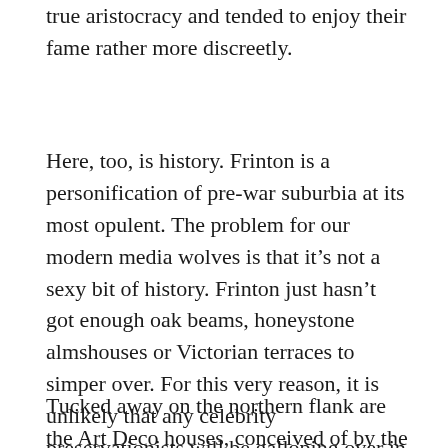true aristocracy and tended to enjoy their fame rather more discreetly.
Here, too, is history. Frinton is a personification of pre-war suburbia at its most opulent. The problem for our modern media wolves is that it’s not a sexy bit of history. Frinton just hasn’t got enough oak beams, honeystone almshouses or Victorian terraces to simper over. For this very reason, it is unlikely that any celebrity preservationists will be galloping over in the near future with a cri-de-camera on behalf of the place.
Tucked away on the northern flank are the Art Deco houses, conceived of by the architect Oliver